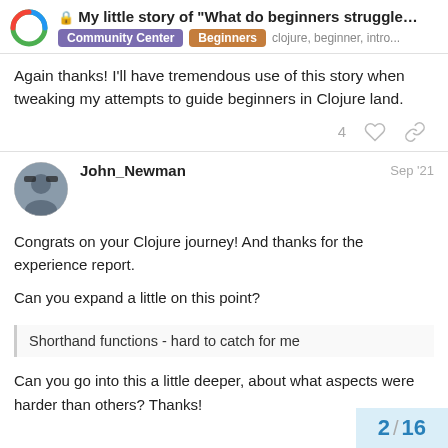My little story of "What do beginners struggle ... | Community Center | Beginners | clojure, beginner, intro...
Again thanks! I'll have tremendous use of this story when tweaking my attempts to guide beginners in Clojure land.
John_Newman  Sep '21
Congrats on your Clojure journey! And thanks for the experience report.

Can you expand a little on this point?
Shorthand functions - hard to catch for me
Can you go into this a little deeper, about what aspects were harder than others? Thanks!
2 / 16